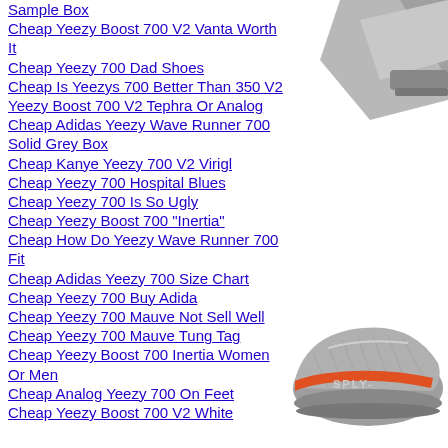Sample Box
Cheap Yeezy Boost 700 V2 Vanta Worth It
Cheap Yeezy 700 Dad Shoes
Cheap Is Yeezys 700 Better Than 350 V2
Yeezy Boost 700 V2 Tephra Or Analog
Cheap Adidas Yeezy Wave Runner 700 Solid Grey Box
Cheap Kanye Yeezy 700 V2 Virigl
Cheap Yeezy 700 Hospital Blues
Cheap Yeezy 700 Is So Ugly
Cheap Yeezy Boost 700 "Inertia"
Cheap How Do Yeezy Wave Runner 700 Fit
Cheap Adidas Yeezy 700 Size Chart
Cheap Yeezy 700 Buy Adida
Cheap Yeezy 700 Mauve Not Sell Well
Cheap Yeezy 700 Mauve Tung Tag
Cheap Yeezy Boost 700 Inertia Women Or Men
Cheap Analog Yeezy 700 On Feet
Cheap Yeezy Boost 700 V2 White
[Figure (photo): Grey sneaker/shoe image top right corner]
[Figure (photo): Yeezy Boost sneaker bottom right corner, grey with orange stripe]